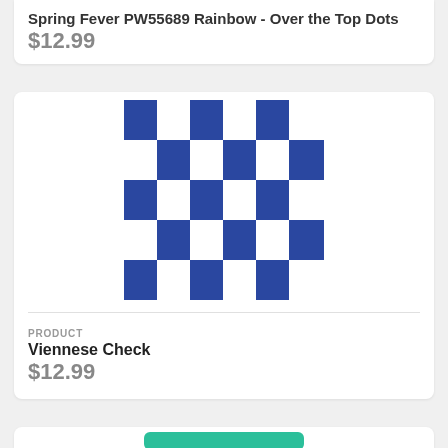Spring Fever PW55689 Rainbow - Over the Top Dots
$12.99
[Figure (photo): Blue and white checkerboard pattern fabric swatch - Viennese Check]
PRODUCT
Viennese Check
$12.99